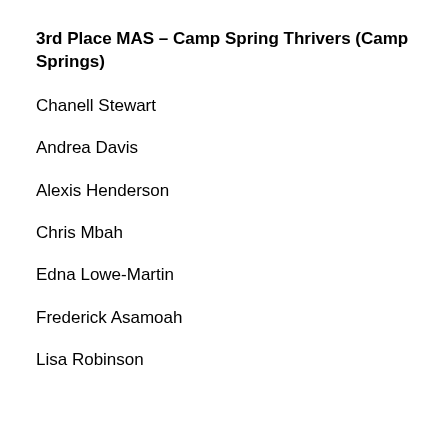3rd Place MAS – Camp Spring Thrivers (Camp Springs)
Chanell Stewart
Andrea Davis
Alexis Henderson
Chris Mbah
Edna Lowe-Martin
Frederick Asamoah
Lisa Robinson